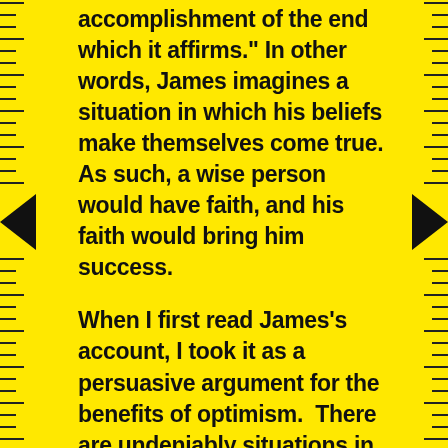accomplishment of the end which it affirms." In other words, James imagines a situation in which his beliefs make themselves come true. As such, a wise person would have faith, and his faith would bring him success.

When I first read James's account, I took it as a persuasive argument for the benefits of optimism. There are undeniably situations in which the belief in a positive outcome increases the